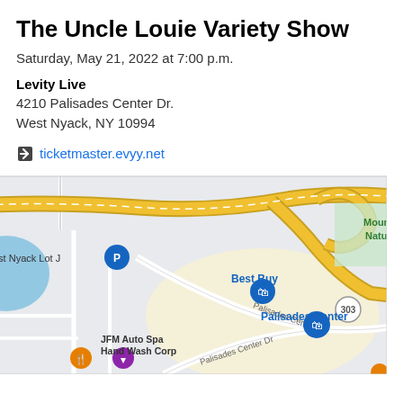The Uncle Louie Variety Show
Saturday, May 21, 2022 at 7:00 p.m.
Levity Live
4210 Palisades Center Dr.
West Nyack, NY 10994
ticketmaster.evyy.net
[Figure (map): Google Maps screenshot showing Palisades Center area in West Nyack, NY. Shows NY State Thruway (yellow highway), Palisades Center Dr, Best Buy, Palisades Center mall, West Nyack Lot J parking, JFM Auto Spa Hand Wash Corp, Mountain Nature area, and Route 303.]